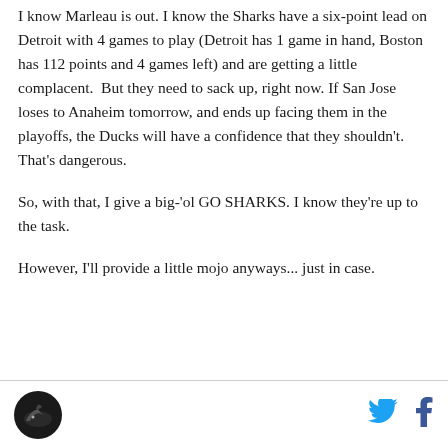I know Marleau is out. I know the Sharks have a six-point lead on Detroit with 4 games to play (Detroit has 1 game in hand, Boston has 112 points and 4 games left) and are getting a little complacent.  But they need to sack up, right now. If San Jose loses to Anaheim tomorrow, and ends up facing them in the playoffs, the Ducks will have a confidence that they shouldn't. That's dangerous.
So, with that, I give a big-'ol GO SHARKS. I know they're up to the task.
However, I'll provide a little mojo anyways... just in case.
Logo and social share icons